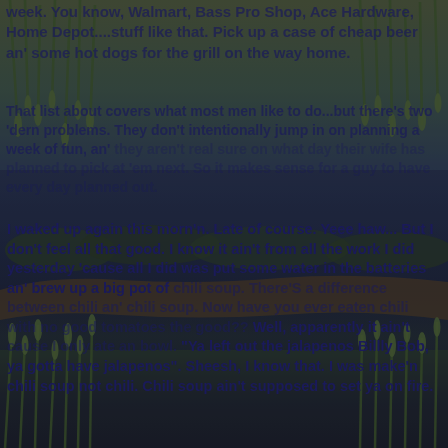[Figure (photo): Outdoor nature photograph of a lake or pond with reeds and tall grasses in the foreground and background. The water reflects a cloudy, overcast sky. Trees visible in the distance. Dark, muted green and blue tones throughout.]
week. You know, Walmart, Bass Pro Shop, Ace Hardware, Home Depot....stuff like that. Pick up a case of cheap beer an' some hot dogs for the grill on the way home.
That list about covers what most men like to do...but there's two 'dern problems. They don't intentionally jump in on planning a week of fun, an' they aren't real sure on what day their wife has planned to pick at 'em next. So it makes sense for a guy to have every day planned out.
I waked up again this morn'n. Late of course. Yeee haw... But I don't feel all that good. I know it ain't from all the work I did yesterday 'cause all I did was put some water in the batteries an' brew up a big pot of chili soup. There's a difference between chili an' chili soup. Now have you ever eaten chili with no tomatoes? An that chili with no good tomatoes the good?? Well, apparently it ain't cause I only ate an bowl. "Ya left out the jalapenos Billly Bob, ya gotta have jalapenos". Sheesh, I know that. I was make'n chili soup not chili. Chili soup ain't supposed to set ya on fire.